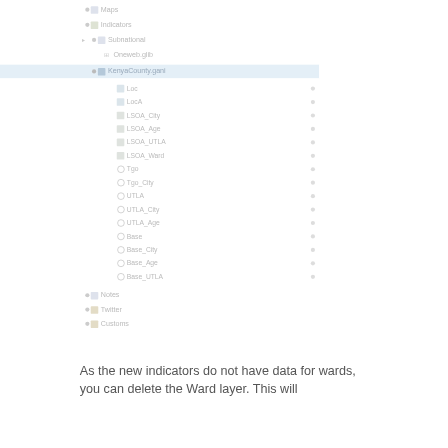[Figure (screenshot): A software interface tree/layer panel showing a hierarchical list of geographic data layers including: Maps, Indicators, Subnational (expanded) with children: Oneweb.glib and KenyaCounty.gani (highlighted/selected, expanded) with sub-children: Loc, LocA, LSOA_City, LSOA_Age, LSOA_UTLA, LSOA_Ward, Tgo, Tgo_City, UTLA, UTLA_City, UTLA_Age, Base, Base_City, Base_Age, Base_UTLA. Also: Notes, Twitter, and Customs items. All items appear greyed out.]
As the new indicators do not have data for wards, you can delete the Ward layer. This will